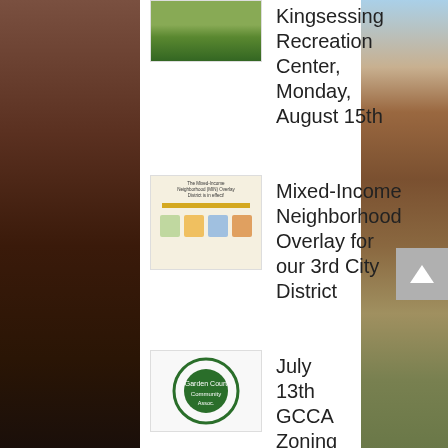[Figure (photo): Aerial or elevated view of green area, top left thumbnail]
Kingsessing Recreation Center, Monday, August 15th
[Figure (photo): Mixed-Income Neighborhood (MIN) Overlay District document cover thumbnail]
Mixed-Income Neighborhood Overlay for our 3rd City District
[Figure (logo): GCCA (Garden Court Community Association) logo - circular green emblem]
July 13th GCCA Zoning Meeting
[Figure (photo): Little Free Library box on a pole among trees]
Book Donations for the Little Free Library Box
[Figure (photo): Left side photo strip showing brick building facade]
[Figure (photo): Right side photo strip showing residential brick row houses]